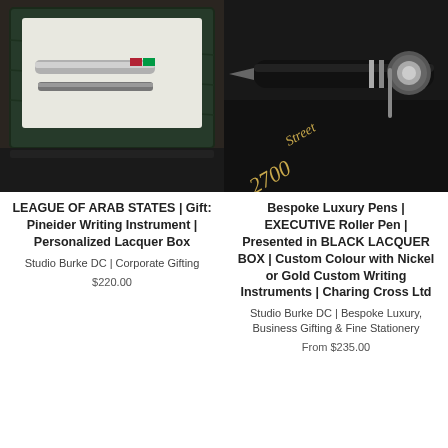[Figure (photo): Photo of a Pineider writing instrument pen in a personalized lacquer gift box, displayed on a dark surface]
[Figure (photo): Photo of a black executive roller pen with silver/chrome accents displayed on a dark leather surface with gold text reading '2700 Street']
LEAGUE OF ARAB STATES | Gift: Pineider Writing Instrument | Personalized Lacquer Box
Studio Burke DC | Corporate Gifting
$220.00
Bespoke Luxury Pens | EXECUTIVE Roller Pen | Presented in BLACK LACQUER BOX | Custom Colour with Nickel or Gold Custom Writing Instruments | Charing Cross Ltd
Studio Burke DC | Bespoke Luxury, Business Gifting & Fine Stationery
From $235.00